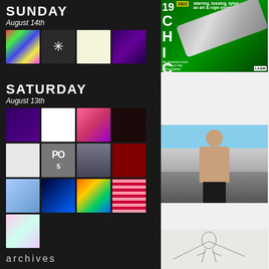SUNDAY
August 14th
[Figure (photo): Grid of thumbnail images for Sunday August 14th events: colorful art, snowflake, handwritten note, purple event poster]
SATURDAY
August 13th
[Figure (photo): Grid of 13 thumbnail images for Saturday August 13th events including posters, sketches, comic art, city photos, and abstract art]
archives
[Figure (infographic): Chicago 2022 art and rope experiment advertisement with green background, rope imagery, and LA&M logo]
[Figure (photo): Shirtless bald man in harness gear standing on rooftop with city skyline behind him]
[Figure (illustration): Sketch/line drawing illustration at bottom of right column]